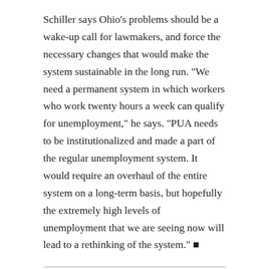Schiller says Ohio’s problems should be a wake-up call for lawmakers, and force the necessary changes that would make the system sustainable in the long run. “We need a permanent system in which workers who work twenty hours a week can qualify for unemployment,” he says. “PUA needs to be institutionalized and made a part of the regular unemployment system. It would require an overhaul of the entire system on a long-term basis, but hopefully the extremely high levels of unemployment that we are seeing now will lead to a rethinking of the system.” ■
Cover image of Kimberly Rodriguez. Photo courtesy Karin McKenna.
Belt Magazine is a 501(c)(3) nonprofit organization. To